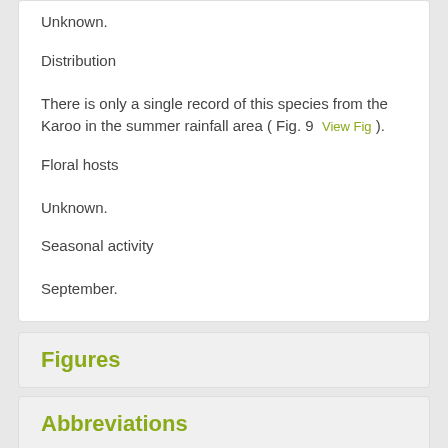Unknown.
Distribution
There is only a single record of this species from the Karoo in the summer rainfall area ( Fig. 9  View Fig ).
Floral hosts
Unknown.
Seasonal activity
September.
Figures
Abbreviations